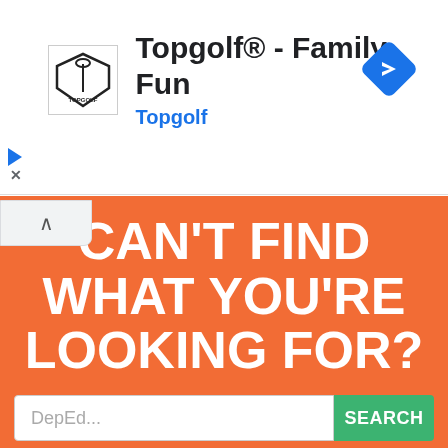[Figure (screenshot): Topgolf ad banner with logo, title 'Topgolf® - Family Fun', subtitle 'Topgolf', and a blue navigation diamond icon on the right]
CAN'T FIND WHAT YOU'RE LOOKING FOR?
We are here to help - please use the search box below.
[Figure (screenshot): Search bar with placeholder text 'DepEd...' and a green SEARCH button]